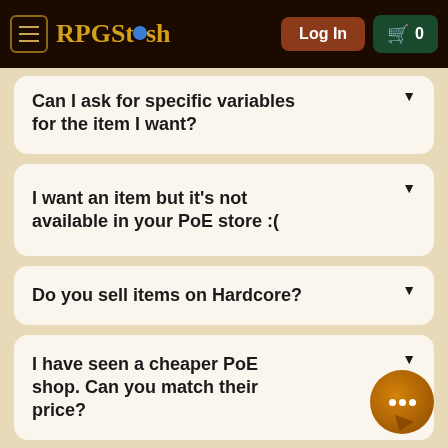RPGStash  Log In  0
Can I ask for specific variables for the item I want?
I want an item but it's not available in your PoE store :(
Do you sell items on Hardcore?
I have seen a cheaper PoE shop. Can you match their price?